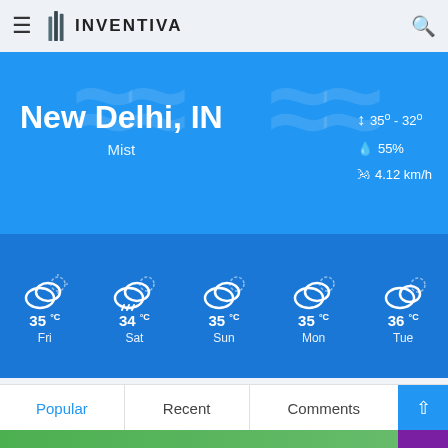INVENTIVA — Weather app header with hamburger menu and search
[Figure (screenshot): Weather widget showing New Delhi, IN with Mist conditions. Temperature range 35°–32°, humidity 55%, wind 4.12 km/h. 5-day forecast: Fri 35°C, Sat 34°C, Sun 35°C, Mon 35°C, Tue 36°C.]
New Delhi, IN
Mist
35° - 32°
55%
4.12 km/h
Fri 35°C
Sat 34°C
Sun 35°C
Mon 35°C
Tue 36°C
Popular | Recent | Comments
Working from home? Get your projects done on fiverr